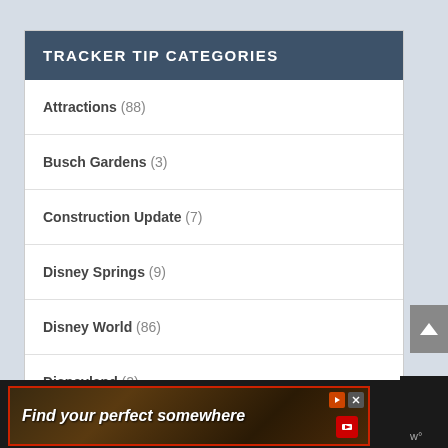TRACKER TIP CATEGORIES
Attractions (88)
Busch Gardens (3)
Construction Update (7)
Disney Springs (9)
Disney World (86)
Disneyland (2)
Food (...)
[Figure (screenshot): Advertisement banner: 'Find your perfect somewhere' with dark background and red border, with close and play icons]